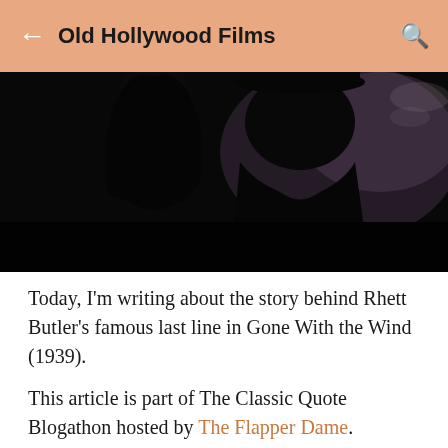Old Hollywood Films
[Figure (photo): Dark silhouette of two figures in a cinematic scene, likely from a classic film. The image is heavily shadowed with a dim purple/grey background.]
Today, I'm writing about the story behind Rhett Butler's famous last line in Gone With the Wind (1939).
This article is part of The Classic Quote Blogathon hosted by The Flapper Dame.